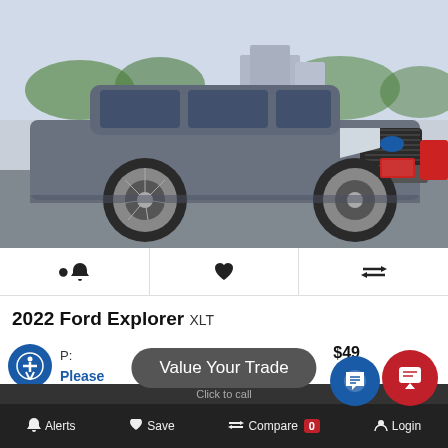[Figure (photo): Gray 2022 Ford Explorer XLT SUV photographed in a parking lot against a backdrop of trees and buildings. The SUV is shown from the front-left three-quarter angle.]
🔔  ♥  ⇄
2022 Ford Explorer XLT
P: $49
Please  est
Value Your Trade
Pricing
Alerts  Save  Compare 0  Login